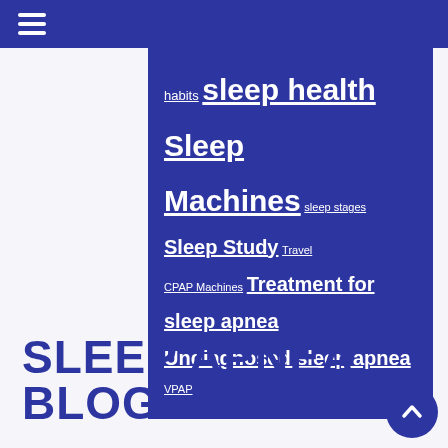☰ (hamburger menu icon)
habits sleep health Sleep Machines sleep stages Sleep Study Travel CPAP Machines Treatment for sleep apnea Undiagnosed sleep apnea VPAP
SLEEP APNEA BLOG